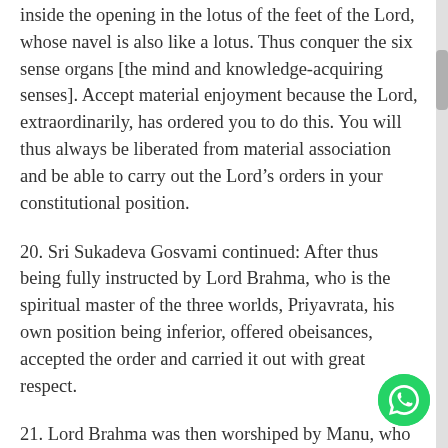inside the opening in the lotus of the feet of the Lord, whose navel is also like a lotus. Thus conquer the six sense organs [the mind and knowledge-acquiring senses]. Accept material enjoyment because the Lord, extraordinarily, has ordered you to do this. You will thus always be liberated from material association and be able to carry out the Lord's orders in your constitutional position.
20. Sri Sukadeva Gosvami continued: After thus being fully instructed by Lord Brahma, who is the spiritual master of the three worlds, Priyavrata, his own position being inferior, offered obeisances, accepted the order and carried it out with great respect.
21. Lord Brahma was then worshiped by Manu, who respectfully satisfied him as well as he could. Priyavrata and Narada also looked upon Brahma with no tinges of resentment. Having engaged Priyavrata in accepting his father's request, Lord Brahma returned to his abode, Satyaloka, which is indescribable by the endeavor of mundane mind or words.